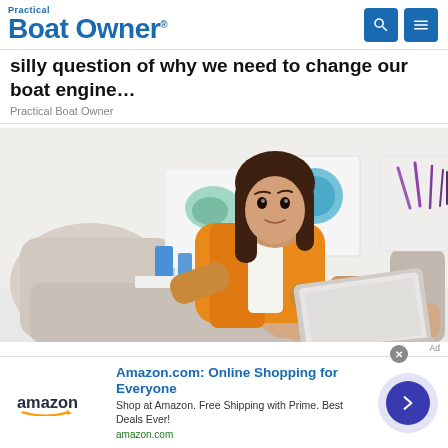Practical Boat Owner
silly question of why we need to change our boat engine…
Practical Boat Owner
[Figure (photo): Woman in orange jacket sitting on a sofa using a laptop, with artwork on the wall behind her]
Amazon.com: Online Shopping for Everyone
Shop at Amazon. Free Shipping with Prime. Best Deals Ever!
amazon.com